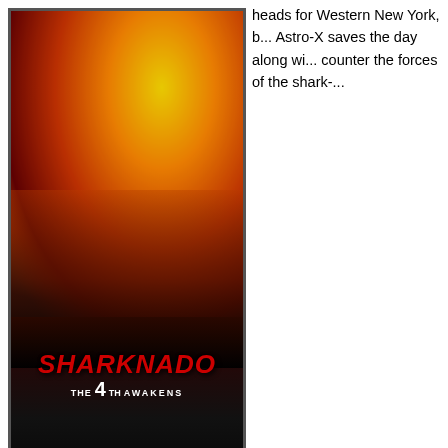[Figure (photo): Movie poster for Sharknado: The 4th Awakens, showing characters and explosion with text 'SHARKNADO THE 4TH AWAKENS JULY 31 | Syfy']
heads for Western New York, b... Astro-X saves the day along wi... counter the forces of the shark-...
[Figure (screenshot): Black UI section with circular avatar showing a boat on water and the text 'Niagara Falls film making']
Niagara Falls film making